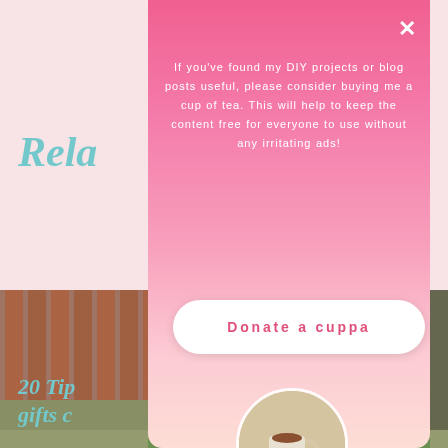[Figure (screenshot): Blog page background partially visible behind modal overlay, showing cyan italic heading text 'Rela...' and a garden photograph with wooden fence and green trees, plus partial blog post title '20 Tip... or, gifts c...' in teal italic at bottom]
If you've found my DIY projects or blog posts useful, please consider buying me a cup of tea. This will help to keep the content free for everyone to use without any irritating ads!
Donate a cuppa
[Figure (photo): Circular photo of a cup of tea with biscuits on a saucer, set on a garden table with green grass in background]
Following & sharing helps too!
Please agree to the use of cookies to continue using this website. More info
Accept